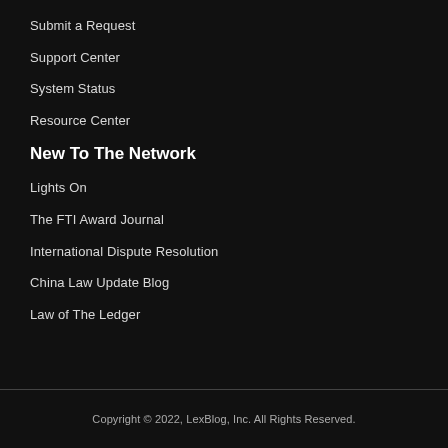Submit a Request
Support Center
System Status
Resource Center
New To The Network
Lights On
The FTI Award Journal
International Dispute Resolution
China Law Update Blog
Law of The Ledger
Copyright © 2022, LexBlog, Inc. All Rights Reserved.